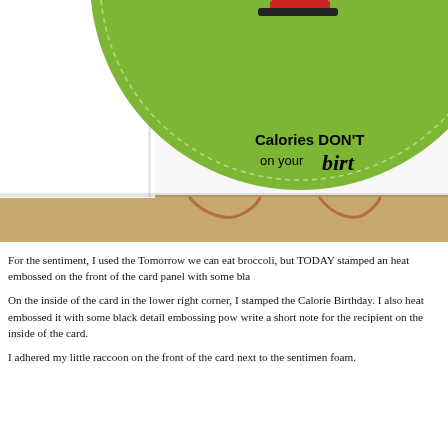[Figure (photo): Close-up photo of a handmade greeting card on a wooden surface. The card features a green circular/arc die-cut element with a dotted border, and partially visible text reading 'Calories DON'T count on your birt...' in bold and cursive lettering. A copper wire hanger is visible at the bottom.]
For the sentiment, I used the Tomorrow we can eat broccoli, but TODAY stamped an heat embossed on the front of the card panel with some bla
On the inside of the card in the lower right corner, I stamped the Calorie Birthday. I also heat embossed it with some black detail embossing pow write a short note for the recipient on the inside of the card.
I adhered my little raccoon on the front of the card next to the sentimen foam.